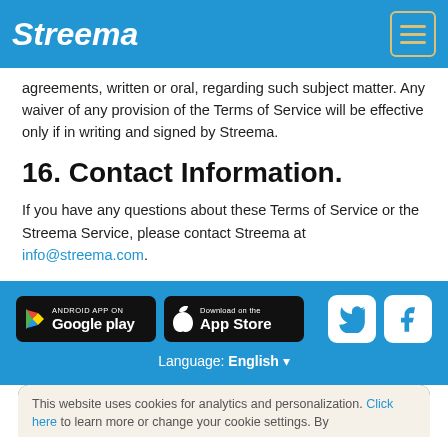Streema
agreements, written or oral, regarding such subject matter. Any waiver of any provision of the Terms of Service will be effective only if in writing and signed by Streema.
16. Contact Information.
If you have any questions about these Terms of Service or the Streema Service, please contact Streema at info@streema.com.
[Figure (logo): Google Play and App Store download badges, Twitter and Facebook social icons]
Language: English
This website uses cookies for analytics and personalization. Click here to learn more or change your cookie settings. By